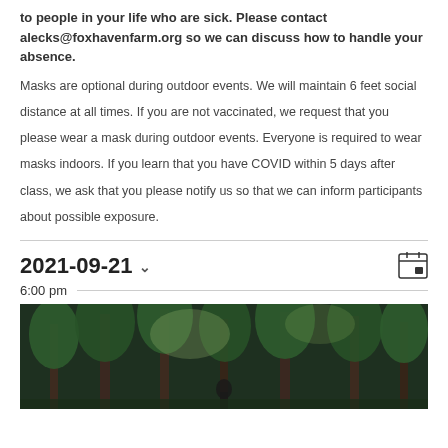to people in your life who are sick. Please contact alecks@foxhavenfarm.org so we can discuss how to handle your absence.
Masks are optional during outdoor events. We will maintain 6 feet social distance at all times. If you are not vaccinated, we request that you please wear a mask during outdoor events. Everyone is required to wear masks indoors. If you learn that you have COVID within 5 days after class, we ask that you please notify us so that we can inform participants about possible exposure.
2021-09-21
6:00 pm
[Figure (photo): A person standing in a forest with tall evergreen trees and dappled light]